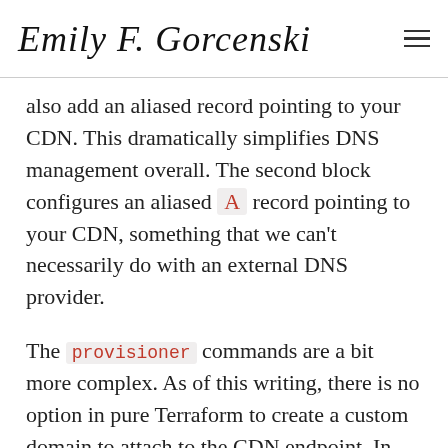Emily F. Gorcenski
also add an aliased record pointing to your CDN. This dramatically simplifies DNS management overall. The second block configures an aliased A record pointing to your CDN, something that we can't necessarily do with an external DNS provider.
The provisioner commands are a bit more complex. As of this writing, there is no option in pure Terraform to create a custom domain to attach to the CDN endpoint. In order to make this work, we need to use a provisioner script that will run at the end of the creation of the resource. This is where